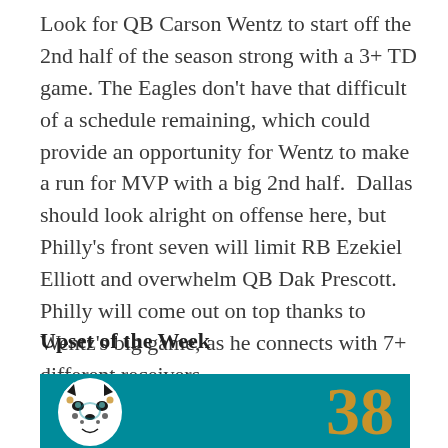Look for QB Carson Wentz to start off the 2nd half of the season strong with a 3+ TD game. The Eagles don't have that difficult of a schedule remaining, which could provide an opportunity for Wentz to make a run for MVP with a big 2nd half.  Dallas should look alright on offense here, but Philly's front seven will limit RB Ezekiel Elliott and overwhelm QB Dak Prescott. Philly will come out on top thanks to Wentz's big game, as he connects with 7+ different receivers.
Upset of the Week
[Figure (photo): Jacksonville Jaguars logo on teal background with score number 38 in gold]